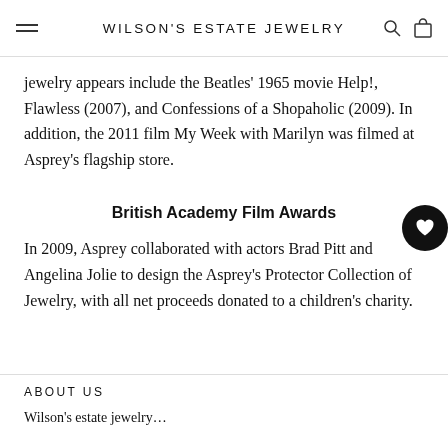WILSON'S ESTATE JEWELRY
jewelry appears include the Beatles' 1965 movie Help!, Flawless (2007), and Confessions of a Shopaholic (2009). In addition, the 2011 film My Week with Marilyn was filmed at Asprey's flagship store.
British Academy Film Awards
In 2009, Asprey collaborated with actors Brad Pitt and Angelina Jolie to design the Asprey's Protector Collection of Jewelry, with all net proceeds donated to a children's charity.
ABOUT US
Wilson's estate jewelry…